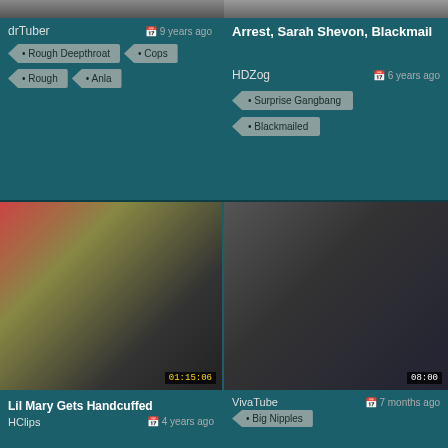[Figure (screenshot): Video thumbnail top left - partially visible at top]
drTuber
9 years ago
Rough Deepthroat
Cops
Rough
Anla
Arrest, Sarah Shevon, Blackmail
HDZog
6 years ago
Surprise Gangbang
Blackmailed
[Figure (screenshot): Video thumbnail - red haired woman, duration 01:15:06]
Lil Mary Gets Handcuffed
HClips
4 years ago
[Figure (screenshot): Video thumbnail - dark haired woman, duration 08:00]
VivaTube
7 months ago
Big Nipples